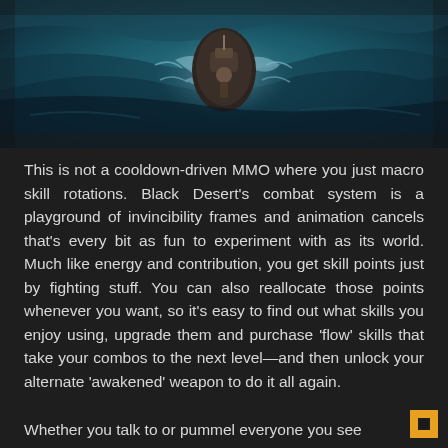[Figure (photo): Aerial/top-down view of a ship or vessel in turbulent dark teal ocean water, partially visible at top of page]
This is not a cooldown-driven MMO where you just macro skill rotations. Black Desert's combat system is a playground of invincibility frames and animation cancels that's every bit as fun to experiment with as its world. Much like energy and contribution, you get skill points just by fighting stuff. You can also reallocate those points whenever you want, so it's easy to find out what skills you enjoy using, upgrade them and purchase 'flow' skills that take your combos to the next level—and then unlock your alternate 'awakened' weapon to do it all again.
Whether you talk to or pummel everyone you see